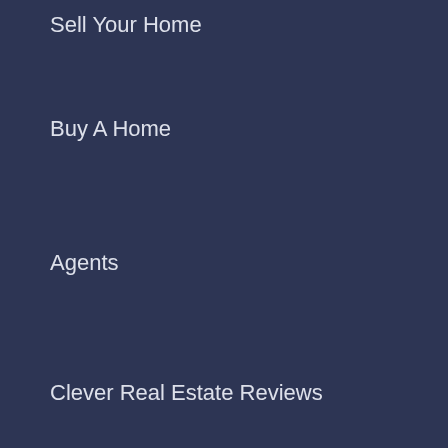Sell Your Home
Buy A Home
Agents
Clever Real Estate Reviews
Resources
About Us
FAQs
Real Estate Blog